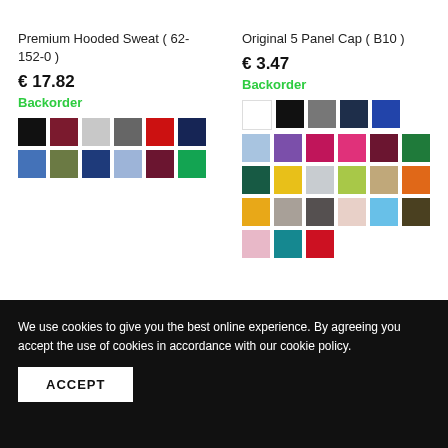Premium Hooded Sweat ( 62-152-0 )
€ 17.82
Backorder
[Figure (other): Color swatches grid for Premium Hooded Sweat: black, dark red, light gray, dark gray, red, navy, blue (row 1); olive, navy, light blue, burgundy, green (row 2)]
Original 5 Panel Cap ( B10 )
€ 3.47
Backorder
[Figure (other): Color swatches grid for Original 5 Panel Cap: white, black, gray, navy, blue, light blue, purple (row 1); magenta, pink, dark red, green, dark green, yellow, light gray (row 2); lime, tan, orange, amber, taupe, dark gray, light pink (row 3); sky blue, dark olive, pink, teal, red (row 4)]
We use cookies to give you the best online experience. By agreeing you accept the use of cookies in accordance with our cookie policy.
ACCEPT